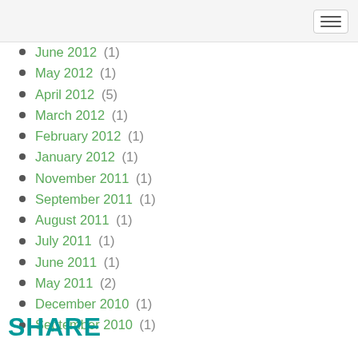June 2012 (1)
May 2012 (1)
April 2012 (5)
March 2012 (1)
February 2012 (1)
January 2012 (1)
November 2011 (1)
September 2011 (1)
August 2011 (1)
July 2011 (1)
June 2011 (1)
May 2011 (2)
December 2010 (1)
September 2010 (1)
SHARE